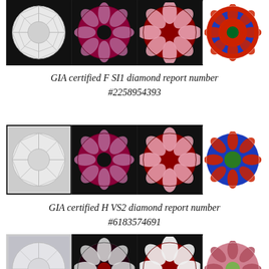[Figure (photo): Four diamond images in a row: white light, red ASET, pink ASET, and colorful Ideal Scope views - GIA F SI1 diamond (partially cropped at top)]
GIA certified F SI1 diamond report number #2258954393
[Figure (photo): Four diamond images in a row: white light, red ASET, pink ASET, and colorful Ideal Scope views - GIA H VS2 diamond]
GIA certified H VS2 diamond report number #6183574691
[Figure (photo): Four diamond images in a row: white light, red ASET, pink ASET, and colorful Ideal Scope views - GIA G VS2 diamond (partially cropped at bottom)]
GIA certified G VS2 diamond report number #7268215324